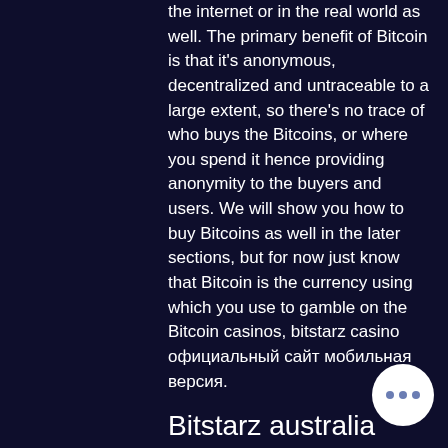the internet or in the real world as well. The primary benefit of Bitcoin is that it's anonymous, decentralized and untraceable to a large extent, so there's no trace of who buys the Bitcoins, or where you spend it hence providing anonymity to the buyers and users. We will show you how to buy Bitcoins as well in the later sections, but for now just know that Bitcoin is the currency using which you use to gamble on the Bitcoin casinos, bitstarz casino официальный сайт мобильная версия.
Bitstarz australia
Мобильная версия; платежные методы. Лимиты транзакций; скорость вывода. Играть в битстарз – как начать? регистрация; верификация; самоисключение. Мобильная версия битстарз казино; регистрация в казино bitstarz. Мобильная версия казино битстарз; отзывы о казино битстарз;